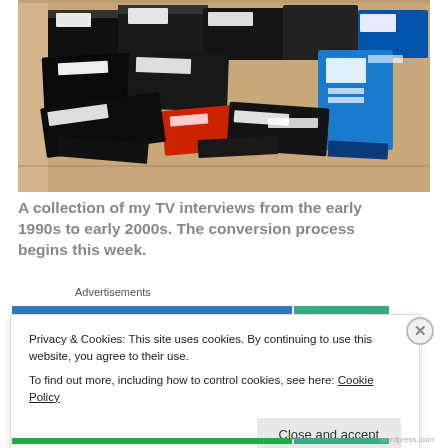[Figure (photo): A cardboard box filled with many VHS video cassette tapes stacked loosely, mostly black with white labels, one blue cassette and one red cassette visible.]
A collection of my TV interviews from the early 1990s to early 2000s. The conversion process begins this week.
Advertisements
Privacy & Cookies: This site uses cookies. By continuing to use this website, you agree to their use.
To find out more, including how to control cookies, see here: Cookie Policy